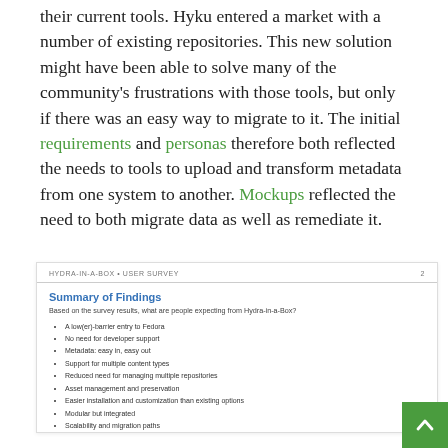potential there is community migrating from their current tools. Hyku entered a market with a number of existing repositories. This new solution might have been able to solve many of the community's frustrations with those tools, but only if there was an easy way to migrate to it. The initial requirements and personas therefore both reflected the needs to tools to upload and transform metadata from one system to another. Mockups reflected the need to both migrate data as well as remediate it.
[Figure (screenshot): Embedded screenshot of a survey document titled 'HYDRA-IN-A-BOX • USER SURVEY', page 2, with section 'Summary of Findings' and a bulleted list of findings about what people expect from Hydra-in-a-Box.]